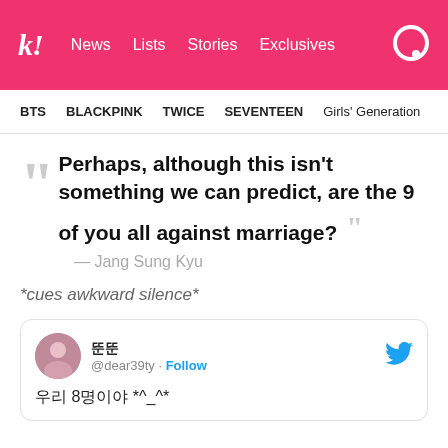kl! News Lists Stories Exclusives
BTS  BLACKPINK  TWICE  SEVENTEEN  Girls' Generation
Perhaps, although this isn't something we can predict, are the 9 of you all against marriage? — Jang Sung Kyu
*cues awkward silence*
[Figure (screenshot): Embedded tweet from @dear39ty with display name shown as Korean characters, with a Follow link, Twitter bird icon, avatar photo, and Korean text with emoticon: 우리 8명이야 *^_^*]